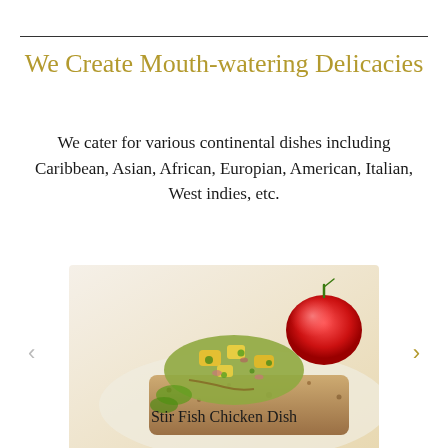We Create Mouth-watering Delicacies
We cater for various continental dishes including Caribbean, Asian, African, Europian, American, Italian, West indies, etc.
[Figure (photo): A close-up photo of a Stir Fish Chicken Dish — breaded fish with mango salsa topping and a cherry tomato garnish on a white plate]
Stir Fish Chicken Dish